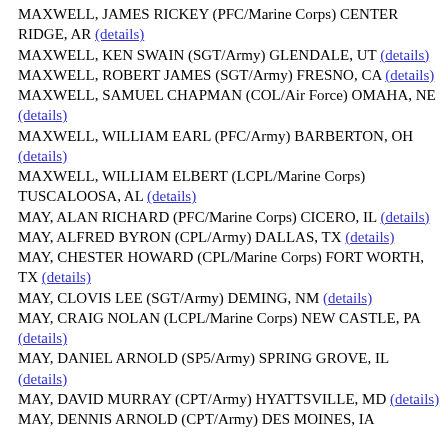MAXWELL, JAMES RICKEY (PFC/Marine Corps) CENTER RIDGE, AR (details)
MAXWELL, KEN SWAIN (SGT/Army) GLENDALE, UT (details)
MAXWELL, ROBERT JAMES (SGT/Army) FRESNO, CA (details)
MAXWELL, SAMUEL CHAPMAN (COL/Air Force) OMAHA, NE (details)
MAXWELL, WILLIAM EARL (PFC/Army) BARBERTON, OH (details)
MAXWELL, WILLIAM ELBERT (LCPL/Marine Corps) TUSCALOOSA, AL (details)
MAY, ALAN RICHARD (PFC/Marine Corps) CICERO, IL (details)
MAY, ALFRED BYRON (CPL/Army) DALLAS, TX (details)
MAY, CHESTER HOWARD (CPL/Marine Corps) FORT WORTH, TX (details)
MAY, CLOVIS LEE (SGT/Army) DEMING, NM (details)
MAY, CRAIG NOLAN (LCPL/Marine Corps) NEW CASTLE, PA (details)
MAY, DANIEL ARNOLD (SP5/Army) SPRING GROVE, IL (details)
MAY, DAVID MURRAY (CPT/Army) HYATTSVILLE, MD (details)
MAY, DENNIS ARNOLD (CPT/Army) DES MOINES, IA